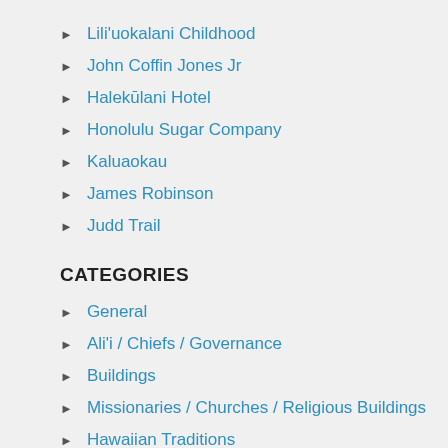Lili'uokalani Childhood
John Coffin Jones Jr
Halekūlani Hotel
Honolulu Sugar Company
Kaluaokau
James Robinson
Judd Trail
CATEGORIES
General
Ali'i / Chiefs / Governance
Buildings
Missionaries / Churches / Religious Buildings
Hawaiian Traditions
Military